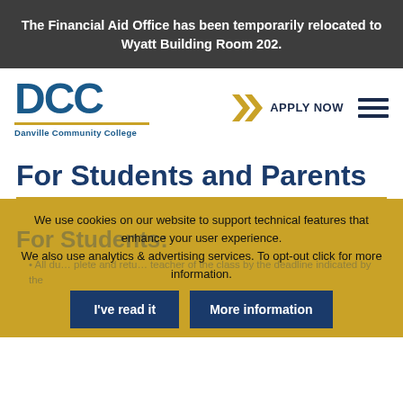The Financial Aid Office has been temporarily relocated to Wyatt Building Room 202.
[Figure (logo): DCC Danville Community College logo with gold underline]
APPLY NOW
For Students and Parents
We use cookies on our website to support technical features that enhance your user experience.
We also use analytics & advertising services. To opt-out click for more information.
For Students:
All du… plete and retu… teacher of the class by the deadline indicated by the
I've read it
More information